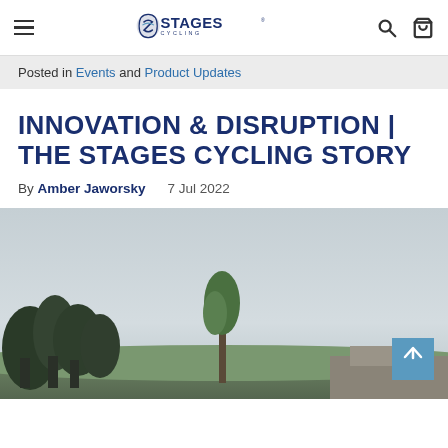Stages Cycling navigation bar with hamburger menu, logo, search and cart icons
Posted in Events and Product Updates
INNOVATION & DISRUPTION | THE STAGES CYCLING STORY
By Amber Jaworsky   7 Jul 2022
[Figure (photo): Outdoor photo showing trees against a light grey sky, with a building or structure partially visible at the bottom right]